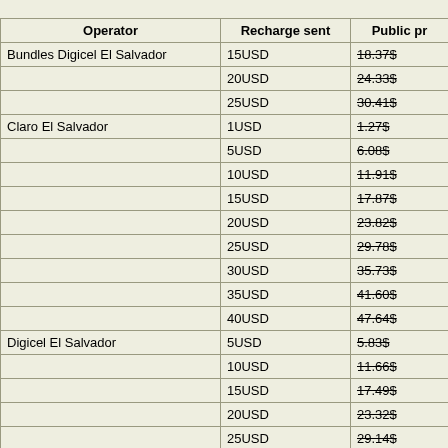| Operator | Recharge sent | Public pr |
| --- | --- | --- |
| Bundles Digicel El Salvador | 15USD | 18.37$ |
|  | 20USD | 24.33$ |
|  | 25USD | 30.41$ |
| Claro El Salvador | 1USD | 1.27$ |
|  | 5USD | 6.08$ |
|  | 10USD | 11.91$ |
|  | 15USD | 17.87$ |
|  | 20USD | 23.82$ |
|  | 25USD | 29.78$ |
|  | 30USD | 35.73$ |
|  | 35USD | 41.60$ |
|  | 40USD | 47.64$ |
| Digicel El Salvador | 5USD | 5.83$ |
|  | 10USD | 11.66$ |
|  | 15USD | 17.49$ |
|  | 20USD | 23.32$ |
|  | 25USD | 29.14$ |
|  | 40USD | 46.5$ |